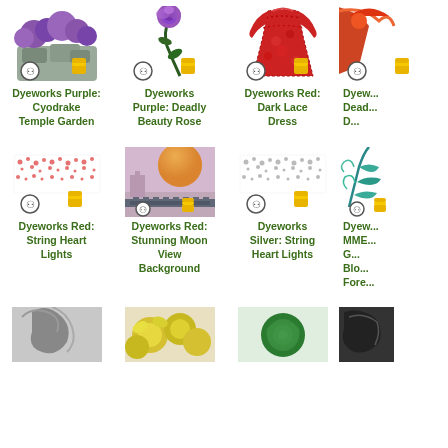[Figure (illustration): Dyeworks Purple: Cyodrake Temple Garden item icon with purple flowers and stone garden]
Dyeworks Purple: Cyodrake Temple Garden
[Figure (illustration): Dyeworks Purple: Deadly Beauty Rose item icon - purple rose on long stem]
Dyeworks Purple: Deadly Beauty Rose
[Figure (illustration): Dyeworks Red: Dark Lace Dress item icon - red lace dress]
Dyeworks Red: Dark Lace Dress
[Figure (illustration): Dyeworks item partially visible on right edge]
Dyew... Dead... D...
[Figure (illustration): Dyeworks Red: String Heart Lights - dotted red string lights pattern]
Dyeworks Red: String Heart Lights
[Figure (illustration): Dyeworks Red: Stunning Moon View Background - moon over rooftop scene]
Dyeworks Red: Stunning Moon View Background
[Figure (illustration): Dyeworks Silver: String Heart Lights - silver dotted string lights pattern]
Dyeworks Silver: String Heart Lights
[Figure (illustration): Dyeworks MME item partially visible - teal/blue decorative item]
Dyew... MME... G... Blo... Fore...
[Figure (illustration): Grayscale tree/plant item - partially visible row 3]
[Figure (illustration): Yellow flowers item - partially visible row 3]
[Figure (illustration): Green item - partially visible row 3]
[Figure (illustration): Black item - partially visible row 3]